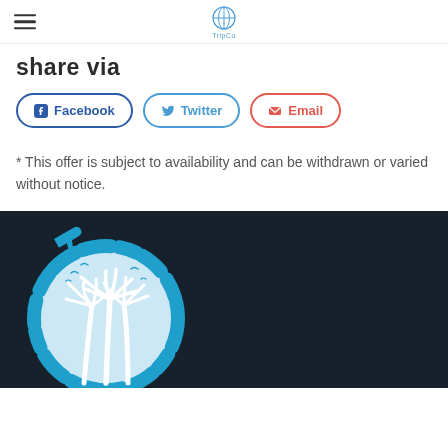TripCo logo and navigation
share via
Facebook  Twitter  Email
* This offer is subject to availability and can be withdrawn or varied without notice.
[Figure (logo): TripCo travel logo: blue circular brushstroke with palm trees and airplane, light blue background]